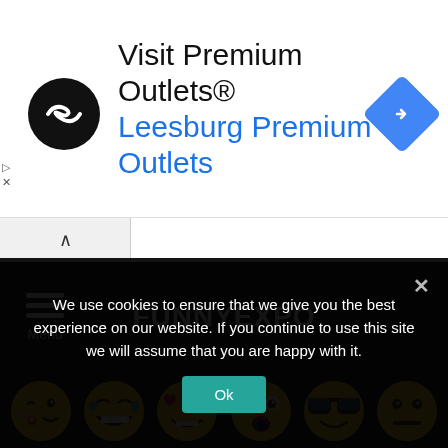[Figure (screenshot): Advertisement banner for Visit Premium Outlets® - Leesburg Premium Outlets, showing a black circular logo with infinity arrows, text, and a blue navigation diamond icon]
[Figure (screenshot): FunnyExpo website navigation bar with hamburger Menu button on left and FUNNYEXPO title in center on dark background]
[Figure (infographic): Six emoji reaction icons on dark background labeled: CUTE (kissing face), LOL (laughing face), LOVE (heart eyes), OMG (surprised face), WIN (sunglasses face), WTF (neutral face)]
We use cookies to ensure that we give you the best experience on our website. If you continue to use this site we will assume that you are happy with it.